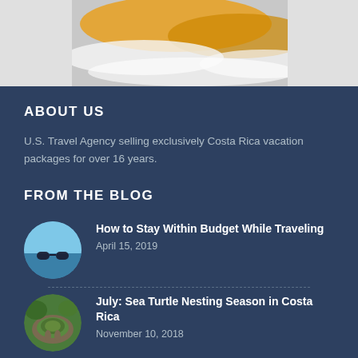[Figure (photo): Top portion of a white-water rafting image showing a yellow raft and rushing white water, cropped at top of page]
ABOUT US
U.S. Travel Agency selling exclusively Costa Rica vacation packages for over 16 years.
FROM THE BLOG
[Figure (photo): Circular thumbnail of a beach scene with sunglasses]
How to Stay Within Budget While Traveling
April 15, 2019
[Figure (photo): Circular thumbnail of a sea turtle on rocks]
July: Sea Turtle Nesting Season in Costa Rica
November 10, 2018